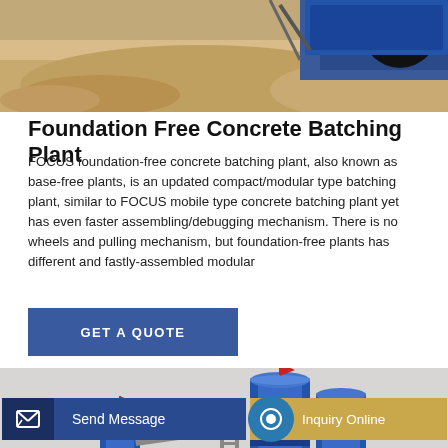[Figure (photo): Construction site with sandy ground and blue machinery/vehicle tires visible at the top]
Foundation Free Concrete Batching Plant
FOCUS foundation-free concrete batching plant, also known as base-free plants, is an updated compact/modular type batching plant, similar to FOCUS mobile type concrete batching plant yet has even faster assembling/debugging mechanism. There is no wheels and pulling mechanism, but foundation-free plants has different and fastly-assembled modular
GET A QUOTE
[Figure (photo): Concrete batching plant with blue and white silos and red flags]
Send Message
Inquiry Online